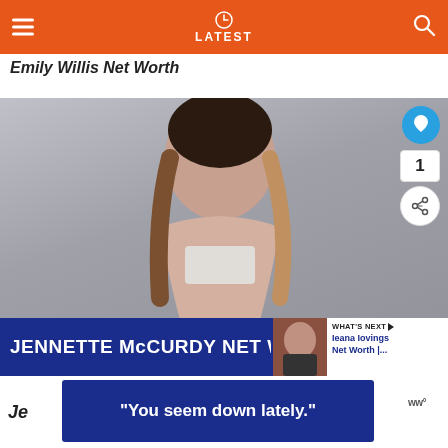LATEST
Emily Willis Net Worth
[Figure (photo): Photo of Jennette McCurdy posing in a white crop top; banner at bottom reads 'JENNETTE MCCURDY NET W...' with a 'WHAT'S NEXT' overlay showing 'Ieana Iovings Net Worth |...']
Jen
"You seem down lately."